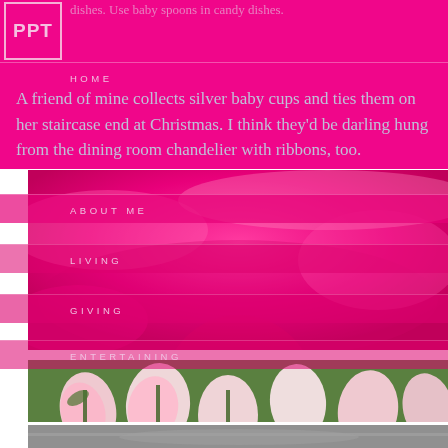[Figure (screenshot): Screenshot of a blog/website with pink background, navigation menu items (HOME, ABOUT ME, LIVING, GIVING, ENTERTAINING), white PPT logo box, body text about silver baby cups, and a photo of pink tulips/roses in the lower portion, plus a grayscale image strip at bottom.]
dishes. Use baby spoons in candy dishes.
HOME
A friend of mine collects silver baby cups and ties them on her staircase end at Christmas. I think they'd be darling hung from the dining room chandelier with ribbons, too.
ABOUT ME
LIVING
GIVING
ENTERTAINING